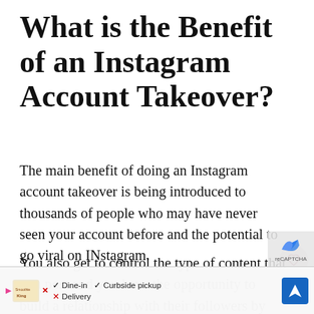What is the Benefit of an Instagram Account Takeover?
The main benefit of doing an Instagram account takeover is being introduced to thousands of people who may have never seen your account before and the potential to go viral on INstagram.
You also get to control the type of content that you post and you have the opportunity to build a relationship with their followers by replying to
[Figure (other): Social share sidebar with heart icon, share count 213, and share icon]
[Figure (other): Advertisement banner overlay with Smoothie King logo, Dine-in, Curbside pickup, Delivery options, navigation icon, reCAPTCHA badge, and close button]